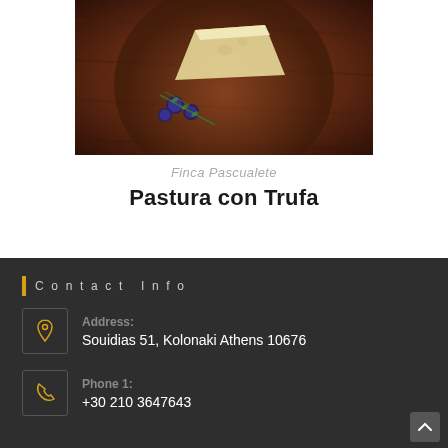[Figure (photo): Overhead shot of food items including cheese and blueberries on a dark wooden board]
Finca Pascualete
Pastura con Trufa
Contact Info
Address: Souidias 51, Kolonaki Athens 10676
Phone 1: +30 210 3647643